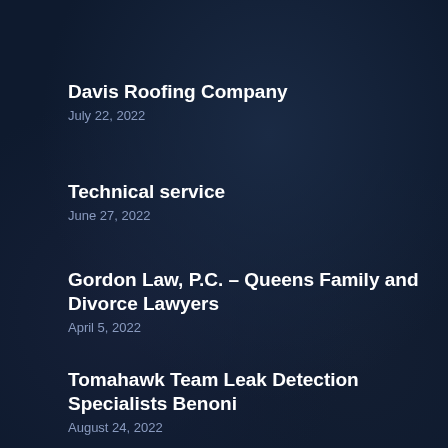Davis Roofing Company
July 22, 2022
Technical service
June 27, 2022
Gordon Law, P.C. – Queens Family and Divorce Lawyers
April 5, 2022
Tomahawk Team Leak Detection Specialists Benoni
August 24, 2022